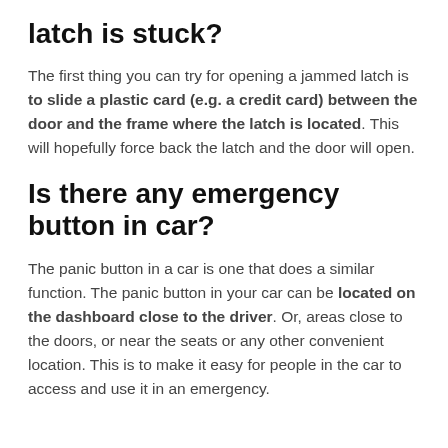latch is stuck?
The first thing you can try for opening a jammed latch is to slide a plastic card (e.g. a credit card) between the door and the frame where the latch is located. This will hopefully force back the latch and the door will open.
Is there any emergency button in car?
The panic button in a car is one that does a similar function. The panic button in your car can be located on the dashboard close to the driver. Or, areas close to the doors, or near the seats or any other convenient location. This is to make it easy for people in the car to access and use it in an emergency.